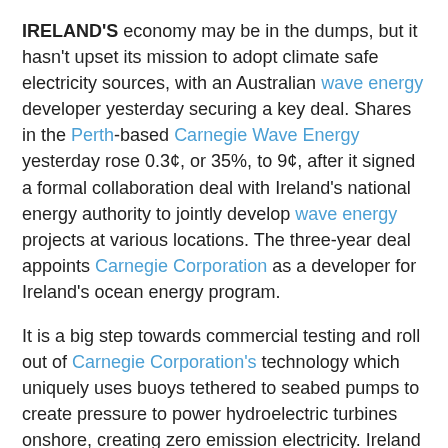IRELAND'S economy may be in the dumps, but it hasn't upset its mission to adopt climate safe electricity sources, with an Australian wave energy developer yesterday securing a key deal. Shares in the Perth-based Carnegie Wave Energy yesterday rose 0.3¢, or 35%, to 9¢, after it signed a formal collaboration deal with Ireland's national energy authority to jointly develop wave energy projects at various locations. The three-year deal appoints Carnegie Corporation as a developer for Ireland's ocean energy program.
It is a big step towards commercial testing and roll out of Carnegie Corporation's technology which uniquely uses buoys tethered to seabed pumps to create pressure to power hydroelectric turbines onshore, creating zero emission electricity. Ireland has set a national target to produce a third of its electricity from renewable or limitless power sources such as the sun, wind and waves by 2020, much higher than Australia's 20% target. Unlike Australia's target, Ireland's renewable energy target includes a specific target for ocean energy, which will deliver 75MWs of power from the ocean to